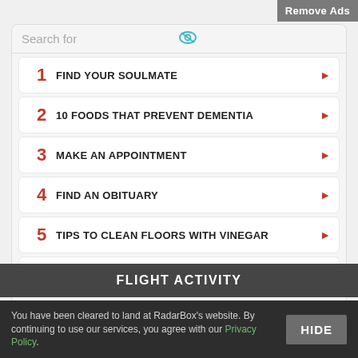Remove Ads
1 FIND YOUR SOULMATE
2 10 FOODS THAT PREVENT DEMENTIA
3 MAKE AN APPOINTMENT
4 FIND AN OBITUARY
5 TIPS TO CLEAN FLOORS WITH VINEGAR
6 HIGH PAYING JOBS
Ad | Business Focus
FLIGHT ACTIVITY
You have been cleared to land at RadarBox's website. By continuing to use our services, you agree with our Privacy Policy.